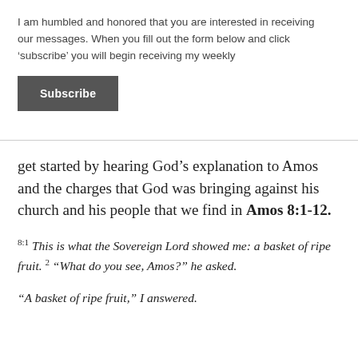I am humbled and honored that you are interested in receiving our messages. When you fill out the form below and click ‘subscribe’ you will begin receiving my weekly
Subscribe
get started by hearing God’s explanation to Amos and the charges that God was bringing against his church and his people that we find in Amos 8:1-12.
8:1 This is what the Sovereign Lord showed me: a basket of ripe fruit. 2 “What do you see, Amos?” he asked.
“A basket of ripe fruit,” I answered.